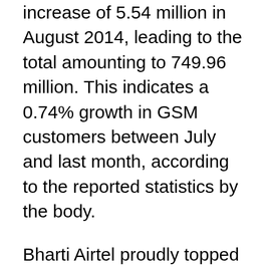increase of 5.54 million in August 2014, leading to the total amounting to 749.96 million. This indicates a 0.74% growth in GSM customers between July and last month, according to the reported statistics by the body.
Bharti Airtel proudly topped the list of telecom operators with the largest fan base by claiming a whopping 210.53 million GSM users. It was closely followed by Vodafone India which serves to 172.49 million subscribers. And going for the bronze with 141.84 of the same was Idea Cellular, which